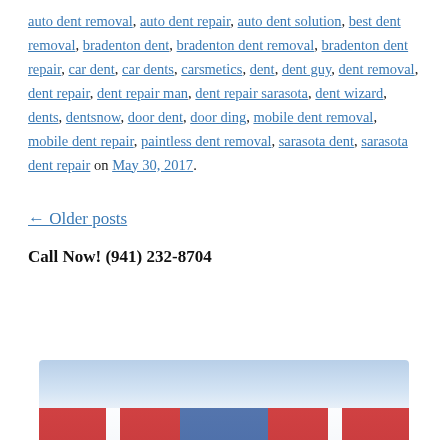auto dent removal, auto dent repair, auto dent solution, best dent removal, bradenton dent, bradenton dent removal, bradenton dent repair, car dent, car dents, carsmetics, dent, dent guy, dent removal, dent repair, dent repair man, dent repair sarasota, dent wizard, dents, dentsnow, door dent, door ding, mobile dent removal, mobile dent repair, paintless dent removal, sarasota dent, sarasota dent repair on May 30, 2017.
← Older posts
Call Now! (941) 232-8704
[Figure (photo): Partial photo strip at bottom of page showing a red white and blue banner/vehicle image]